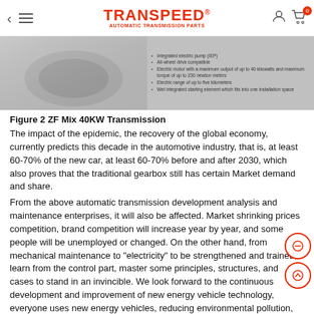TRANSPEED® AUTOMATIC TRANSMISSION PARTS
[Figure (photo): ZF Mix 40KW Transmission image with bullet points listing features: Integrated electric pump (IEP), All-wheel drive compatible, Electric motor with a maximum output of up to 40 kilowatts and maximum torque of up to 230 newton meters, Electric range of up to five kilometers, Wet integrated starting element which fits into one installation space]
Figure 2 ZF Mix 40KW Transmission
The impact of the epidemic, the recovery of the global economy, currently predicts this decade in the automotive industry, that is, at least 60-70% of the new car, at least 60-70% before and after 2030, which also proves that the traditional gearbox still has certain Market demand and share.
From the above automatic transmission development analysis and maintenance enterprises, it will also be affected. Market shrinking prices competition, brand competition will increase year by year, and some people will be unemployed or changed. On the other hand, from mechanical maintenance to "electricity" to be strengthened and trained, learn from the control part, master some principles, structures, and cases to stand in an invincible. We look forward to the continuous development and improvement of new energy vehicle technology, everyone uses new energy vehicles, reducing environmental pollution, benefiting mankind.